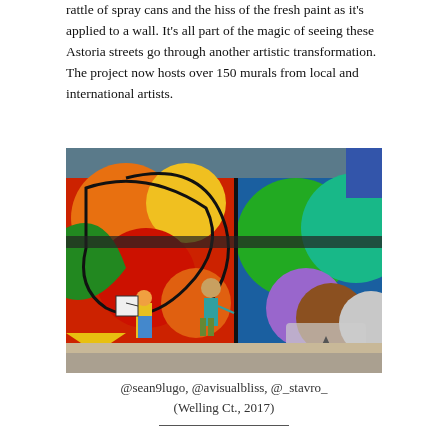rattle of spray cans and the hiss of the fresh paint as it's applied to a wall. It's all part of the magic of seeing these Astoria streets go through another artistic transformation. The project now hosts over 150 murals from local and international artists.
[Figure (photo): A colorful street mural on a brick wall featuring abstract swirling shapes in red, orange, yellow, green, blue, and purple. Two figures are visible standing in front of the mural — one wearing a bear mask holding a teal spray can, another standing with a sign. The sidewalk and street are visible at the bottom.]
@sean9lugo, @avisualbliss, @_stavro_
(Welling Ct., 2017)